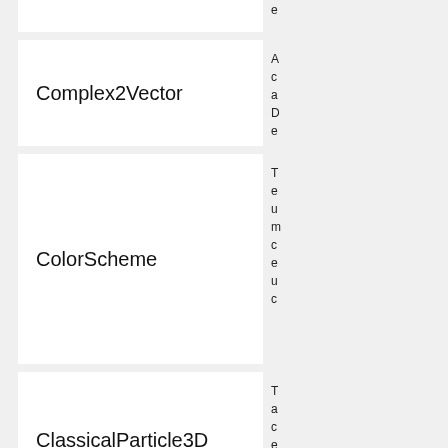(partial row at top — truncated entry)
Complex2Vector
A description of Complex2Vector class...
ColorScheme
The ColorScheme entry description... unique, multiple, etc.
ClassicalParticle3D
The ClassicalParticle3D description...